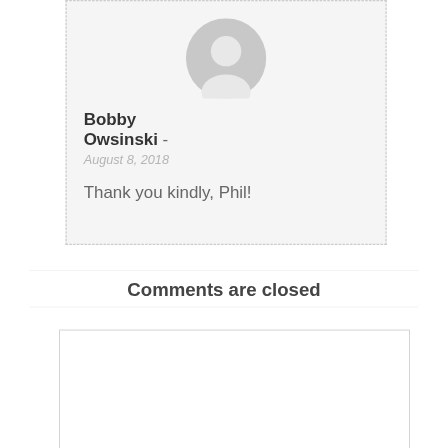[Figure (illustration): User avatar placeholder icon — gray circle with person silhouette]
Bobby Owsinski - August 8, 2018
Thank you kindly, Phil!
Comments are closed
[Figure (screenshot): Empty text input/textarea box with light gray border]